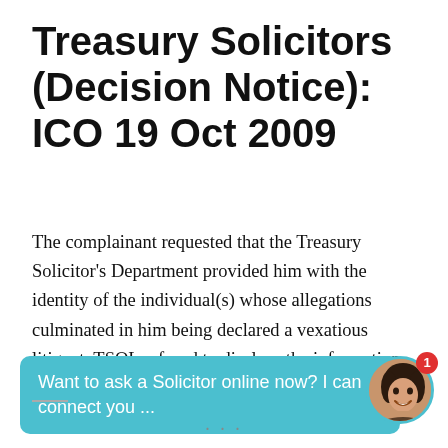Treasury Solicitors (Decision Notice): ICO 19 Oct 2009
The complainant requested that the Treasury Solicitor's Department provided him with the identity of the individual(s) whose allegations culminated in him being declared a vexatious litigant. TSOL refused to disclose the information on grounds provided by section 30 (investigations and proceedings conducted by public authorities) em...
[Figure (other): Chat bubble overlay with text 'Want to ask a Solicitor online now? I can connect you ...' and a circular avatar photo of a woman with a red notification badge showing '1']